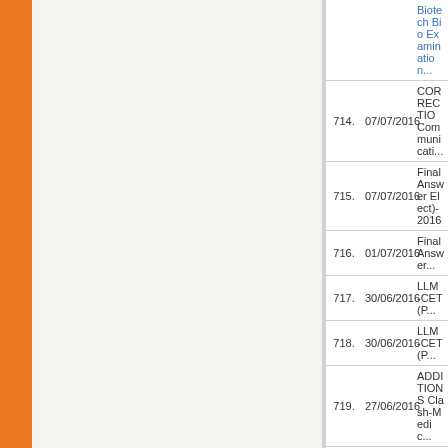| No. | Date | Title |
| --- | --- | --- |
| 713. |  | Biotech Bio Examination... |
| 714. | 07/07/2016 | CORRECTIO Communicati... |
| 715. | 07/07/2016 | Final Answer Elect)-2016 |
| 716. | 01/07/2016 | Final Answer... |
| 717. | 30/06/2016 | LLM -CET(P... |
| 718. | 30/06/2016 | LLM -CET(P... |
| 719. | 27/06/2016 | ADDITIONS Clash-Medic... |
| 720. | 27/06/2016 | ADDITIONS CHANCE) E... |
| 721. | 23/06/2016 | CET(PG) - 2... |
| 722. | 23/06/2016 | CET(PG) - 2... |
| 723. | 23/06/2016 | CET(PG)- 20... |
| 724. | 23/06/2016 | Answer key ... |
| 725. | 23/06/2016 | Questions Be... |
| 726. | 07/06/2016 | CETUG-201... |
| 727. | 07/06/2016 | CETUG-201... |